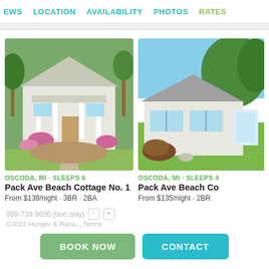EWS  LOCATION  AVAILABILITY  PHOTOS  RATES
[Figure (photo): Exterior of Pack Ave Beach Cottage No. 1 — white cottage with front porch, columns, flowers and landscaped yard in Oscoda, MI]
OSCODA, MI · SLEEPS 6
Pack Ave Beach Cottage No. 1
From $139/night · 3BR · 2BA
[Figure (photo): Exterior of Pack Ave Beach Cottage (second listing) — small white cottage with gray roof, green lawn and tree in background, Oscoda MI]
OSCODA, MI · SLEEPS 4
Pack Ave Beach Co...
From $135/night · 2BR
989-739-9600 (text only)  ©2022 Hunger & Rans...  Terms
BOOK NOW
CONTACT